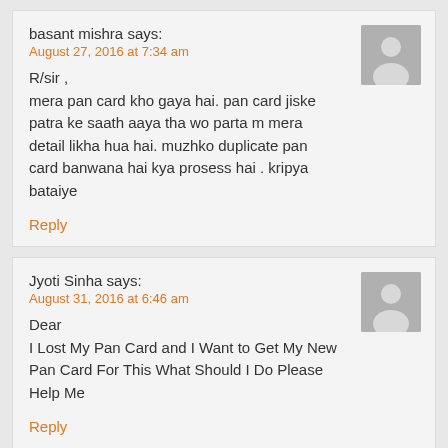basant mishra says:
August 27, 2016 at 7:34 am
R/sir ,
mera pan card kho gaya hai. pan card jiske patra ke saath aaya tha wo parta m mera detail likha hua hai. muzhko duplicate pan card banwana hai kya prosess hai . kripya bataiye
Reply
Jyoti Sinha says:
August 31, 2016 at 6:46 am
Dear
I Lost My Pan Card and I Want to Get My New Pan Card For This What Should I Do Please Help Me
Reply
BINTA DEVI says: